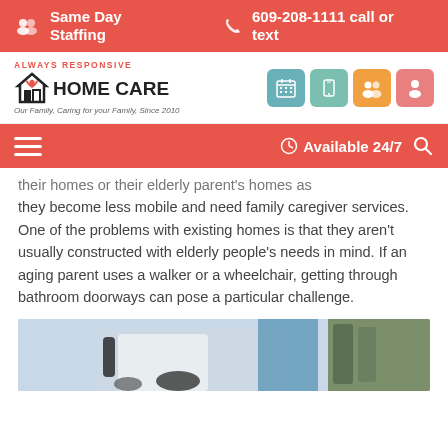Same Day Staffing | 609-208-1111 call or text
[Figure (logo): Always Responsive Home Care logo with house and heart icon. Tagline: Our Family, Caring for your Family, Since 2010]
Available 24/7
their homes or their elderly parent's homes as they become less mobile and need family caregiver services. One of the problems with existing homes is that they aren't usually constructed with elderly people's needs in mind. If an aging parent uses a walker or a wheelchair, getting through bathroom doorways can pose a particular challenge.
[Figure (photo): Person in wheelchair being assisted, photographed outdoors near a doorway]